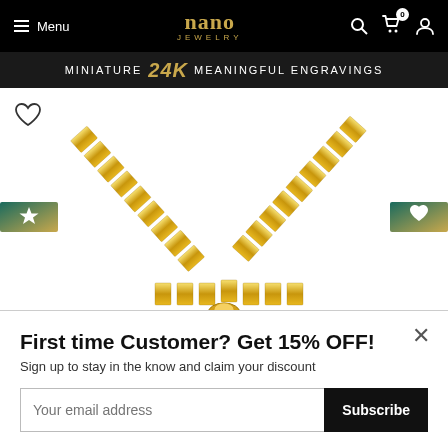Menu  nano JEWELRY  (search, cart 0, account)
MINIATURE 24K Meaningful Engravings
[Figure (photo): Close-up photograph of a gold box-chain necklace with shiny interlocking square links on a white background]
First time Customer? Get 15% OFF!
Sign up to stay in the know and claim your discount
Your email address
Subscribe
Share with your friends